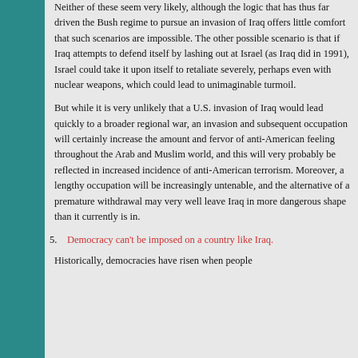Neither of these seem very likely, although the logic that has thus far driven the Bush regime to pursue an invasion of Iraq offers little comfort that such scenarios are impossible. The other possible scenario is that if Iraq attempts to defend itself by lashing out at Israel (as Iraq did in 1991), Israel could take it upon itself to retaliate severely, perhaps even with nuclear weapons, which could lead to unimaginable turmoil.
But while it is very unlikely that a U.S. invasion of Iraq would lead quickly to a broader regional war, an invasion and subsequent occupation will certainly increase the amount and fervor of anti-American feeling throughout the Arab and Muslim world, and this will very probably be reflected in increased incidence of anti-American terrorism. Moreover, a lengthy occupation will be increasingly untenable, and the alternative of a premature withdrawal may very well leave Iraq in more dangerous shape than it currently is in.
5. Democracy can't be imposed on a country like Iraq.
Historically, democracies have risen when people